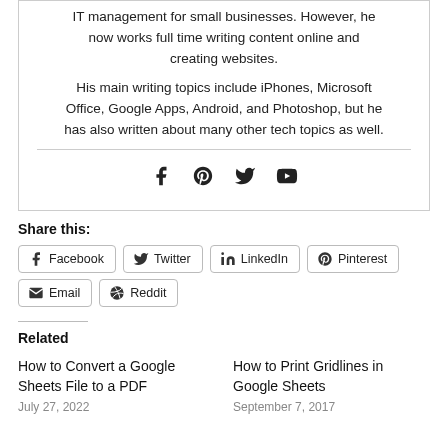IT management for small businesses. However, he now works full time writing content online and creating websites.
His main writing topics include iPhones, Microsoft Office, Google Apps, Android, and Photoshop, but he has also written about many other tech topics as well.
[Figure (infographic): Social media icons: Facebook, Pinterest, Twitter, YouTube]
Share this:
Facebook  Twitter  LinkedIn  Pinterest  Email  Reddit
Related
How to Convert a Google Sheets File to a PDF
July 27, 2022
How to Print Gridlines in Google Sheets
September 7, 2017